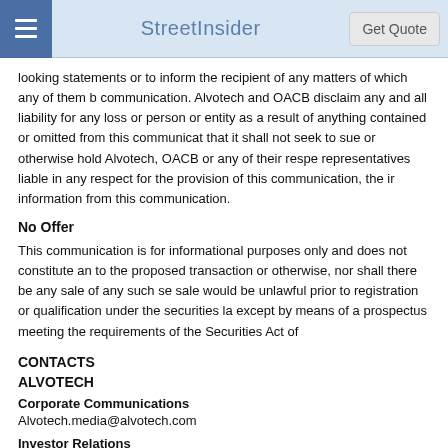StreetInsider | Get Quote
looking statements or to inform the recipient of any matters of which any of them b communication. Alvotech and OACB disclaim any and all liability for any loss or person or entity as a result of anything contained or omitted from this communicat that it shall not seek to sue or otherwise hold Alvotech, OACB or any of their respe representatives liable in any respect for the provision of this communication, the ir information from this communication.
No Offer
This communication is for informational purposes only and does not constitute an to the proposed transaction or otherwise, nor shall there be any sale of any such se sale would be unlawful prior to registration or qualification under the securities la except by means of a prospectus meeting the requirements of the Securities Act of
CONTACTS
ALVOTECH
Corporate Communications
Alvotech.media@alvotech.com
Investor Relations